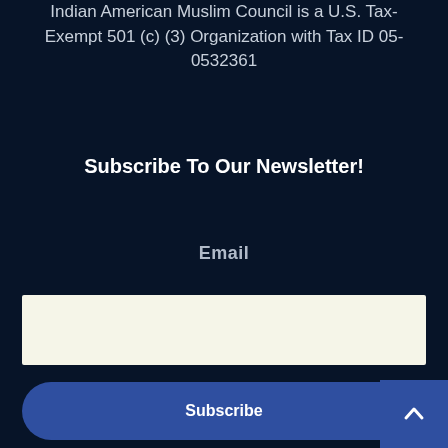Indian American Muslim Council is a U.S. Tax-Exempt 501 (c) (3) Organization with Tax ID 05-0532361
Subscribe To Our Newsletter!
Email
[Figure (screenshot): Email input text field with light beige/cream background]
[Figure (screenshot): Subscribe button, dark blue with rounded corners, and scroll-to-top arrow button at bottom right]